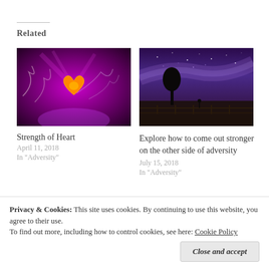Related
[Figure (photo): Abstract heart with smoke and colorful light on dark purple background]
Strength of Heart
April 11, 2018
In "Adversity"
[Figure (photo): Night sky with Milky Way, silhouette of tree and fence]
Explore how to come out stronger on the other side of adversity
July 15, 2018
In "Adversity"
[Figure (photo): Close-up of grain or seeds]
Grain
Privacy & Cookies: This site uses cookies. By continuing to use this website, you agree to their use.
To find out more, including how to control cookies, see here: Cookie Policy
Close and accept